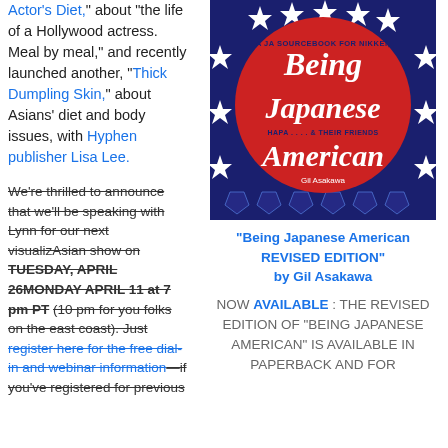Actor's Diet," about "the life of a Hollywood actress. Meal by meal," and recently launched another, "Thick Dumpling Skin," about Asians' diet and body issues, with Hyphen publisher Lisa Lee.
We're thrilled to announce that we'll be speaking with Lynn for our next visualizAsian show on TUESDAY, APRIL 26MONDAY APRIL 11 at 7 pm PT (10 pm for you folks on the east coast). Just register here for the free dial-in and webinar information—if you've registered for previous
[Figure (illustration): Book cover of 'Being Japanese American REVISED EDITION' by Gil Asakawa. Dark blue background with white stars, large red circle in center with white script text reading 'Being Japanese American', subtitle 'A JA Sourcebook for Nikkei, Hapa....& Their Friends']
"Being Japanese American REVISED EDITION" by Gil Asakawa
NOW AVAILABLE : THE REVISED EDITION OF "BEING JAPANESE AMERICAN" IS AVAILABLE IN PAPERBACK AND FOR